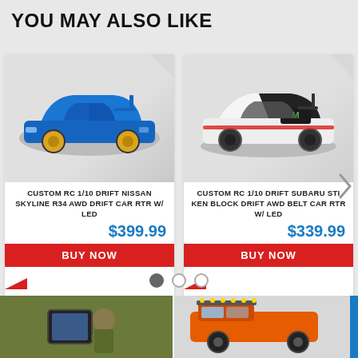YOU MAY ALSO LIKE
[Figure (photo): Blue custom RC 1/10 Nissan Skyline R34 drift car with gold wheels on grey background]
CUSTOM RC 1/10 DRIFT NISSAN SKYLINE R34 AWD DRIFT CAR RTR W/ LED
$399.99
BUY NOW
[Figure (photo): White and black custom RC 1/10 Subaru STI Ken Block drift car with Monster Energy livery on grey background]
CUSTOM RC 1/10 DRIFT SUBARU STI KEN BLOCK DRIFT AWD BELT CAR RTR W/ LED
$339.99
BUY NOW
[Figure (photo): Bottom strip showing partial images of two more RC products on blue background]